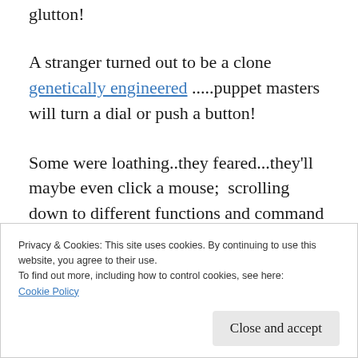glutton!
A stranger turned out to be a clone genetically engineered .....puppet masters will turn a dial or push a button!
Some were loathing..they feared...they'll maybe even click a mouse;  scrolling down to different functions and command codes!
.....Checked the glitches in the matrix due to
Privacy & Cookies: This site uses cookies. By continuing to use this website, you agree to their use.
To find out more, including how to control cookies, see here: Cookie Policy
Close and accept